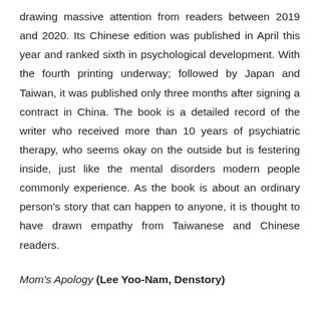drawing massive attention from readers between 2019 and 2020. Its Chinese edition was published in April this year and ranked sixth in psychological development. With the fourth printing underway; followed by Japan and Taiwan, it was published only three months after signing a contract in China. The book is a detailed record of the writer who received more than 10 years of psychiatric therapy, who seems okay on the outside but is festering inside, just like the mental disorders modern people commonly experience. As the book is about an ordinary person's story that can happen to anyone, it is thought to have drawn empathy from Taiwanese and Chinese readers.
Mom's Apology (Lee Yoo-Nam, Denstory)